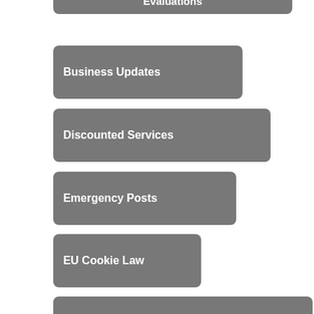Evaluations
Business Updates
Discounted Services
Emergency Posts
EU Cookie Law
Frequently Asked Questions
Host
Information For Charities